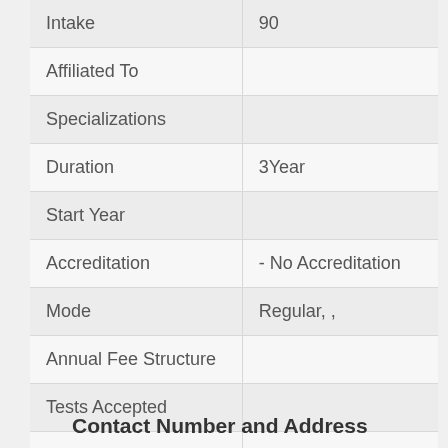| Field | Value |
| --- | --- |
| Intake | 90 |
| Affiliated To |  |
| Specializations |  |
| Duration | 3Year |
| Start Year |  |
| Accreditation | - No Accreditation |
| Mode | Regular, , |
| Annual Fee Structure |  |
| Tests Accepted |  |
| Scholarships |  |
Contact Number and Address